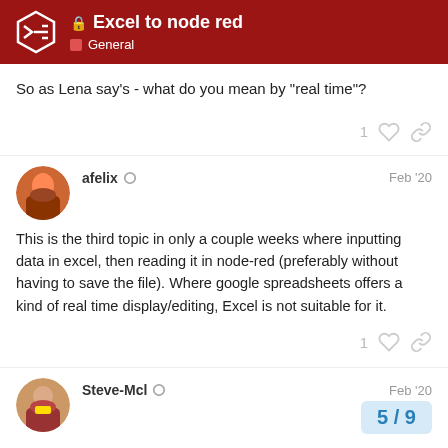Excel to node red — General
So as Lena say's - what do you mean by "real time"?
afelix — Feb '20
This is the third topic in only a couple weeks where inputting data in excel, then reading it in node-red (preferably without having to save the file). Where google spreadsheets offers a kind of real time display/editing, Excel is not suitable for it.
Steve-Mcl — Feb '20
5 / 9